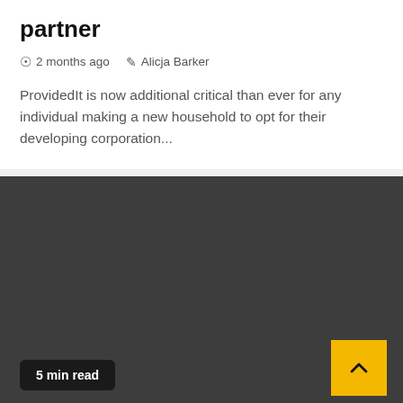partner
2 months ago   Alicja Barker
ProvidedIt is now additional critical than ever for any individual making a new household to opt for their developing corporation...
[Figure (other): Dark grey background section with a yellow scroll-to-top button showing an upward chevron arrow, and a '5 min read' badge in the bottom left.]